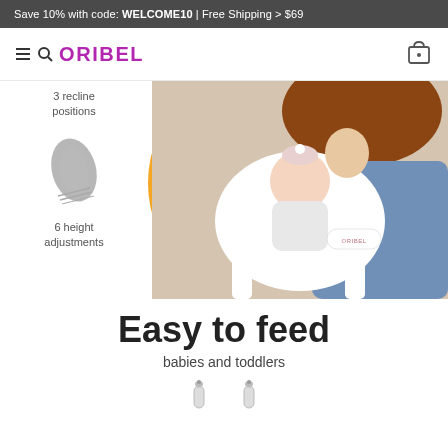Save 10% with code: WELCOME10 | Free Shipping > $69
[Figure (logo): Oribel brand logo with hamburger menu and search icon on the left, shopping bag icon on the right]
[Figure (photo): Hero image showing a mother leaning over a baby in a white Oribel high chair, with a large yellow circle background element, and a recline positions icon and 6 height adjustments icon on the left side]
3 recline positions
6 height adjustments
Easy to feed
babies and toddlers